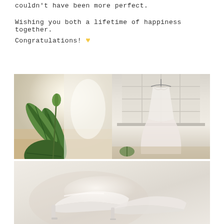couldn't have been more perfect.
Wishing you both a lifetime of happiness together. Congratulations! 🧡
[Figure (photo): Two side-by-side wedding photos: left shows green tropical leaves with blurred white floral/dress background; right shows a wedding dress hanging near a window with grid panes]
[Figure (photo): Close-up photo of white wedding shoes or heels against a soft cream/white background]